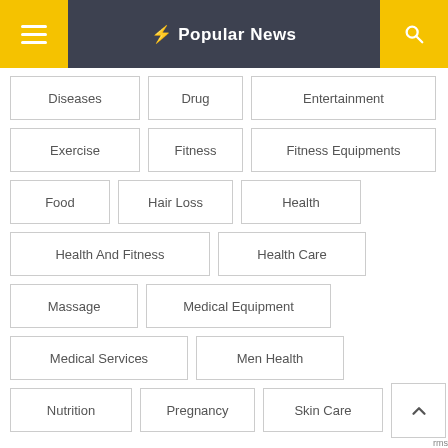Popular News
Diseases
Drug
Entertainment
Exercise
Fitness
Fitness Equipments
Food
Hair Loss
Health
Health And Fitness
Health Care
Massage
Medical Equipment
Medical Services
Men Health
Nutrition
Pregnancy
Skin Care